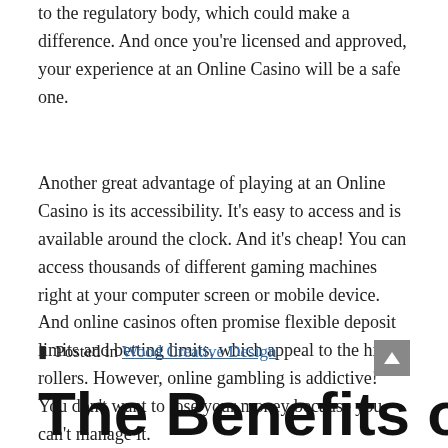to the regulatory body, which could make a difference. And once you're licensed and approved, your experience at an Online Casino will be a safe one.
Another great advantage of playing at an Online Casino is its accessibility. It's easy to access and is available around the clock. And it's cheap! You can access thousands of different gaming machines right at your computer screen or mobile device. And online casinos often promise flexible deposit limits and betting limits, which appeal to the high rollers. However, online gambling is addictive! You don't want to lose your money because you can't manage it.
Posted in Wood Creative Design
The Benefits of Playing